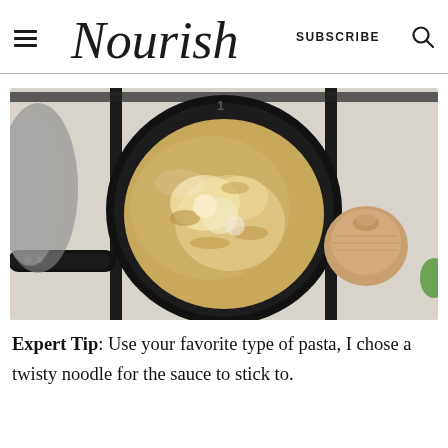Nourish | SUBSCRIBE
[Figure (photo): Overhead view of a black saucepan on a gas stove burner containing creamy pasta (twisty noodles) in a yellowish-white sauce, with a wooden pot lid and partial view of another pan visible on a white surface.]
Expert Tip: Use your favorite type of pasta, I chose a twisty noodle for the sauce to stick to.